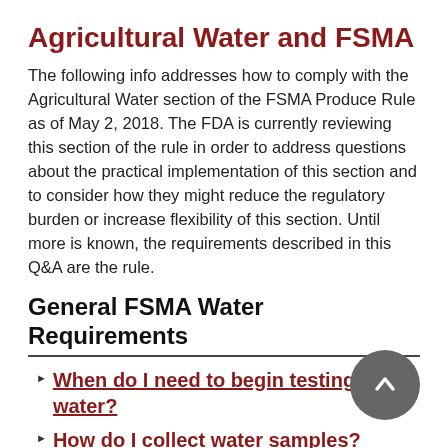Agricultural Water and FSMA
The following info addresses how to comply with the Agricultural Water section of the FSMA Produce Rule as of May 2, 2018. The FDA is currently reviewing this section of the rule in order to address questions about the practical implementation of this section and to consider how they might reduce the regulatory burden or increase flexibility of this section. Until more is known, the requirements described in this Q&A are the rule.
General FSMA Water Requirements
When do I need to begin testing my water?
How do I collect water samples?
What test do I order?